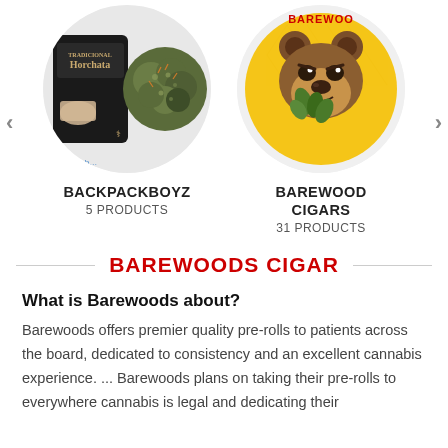[Figure (photo): Product card for BACKPACKBOYZ showing a black Horchata branded package and cannabis flower bud inside a circular frame]
BACKPACKBOYZ
5 PRODUCTS
[Figure (photo): Product card for BAREWOOD CIGARS showing a yellow circular logo with an angry brown bear holding cannabis leaves]
BAREWOOD CIGARS
31 PRODUCTS
BAREWOODS CIGAR
What is Barewoods about?
Barewoods offers premier quality pre-rolls to patients across the board, dedicated to consistency and an excellent cannabis experience. ... Barewoods plans on taking their pre-rolls to everywhere cannabis is legal and dedicating their